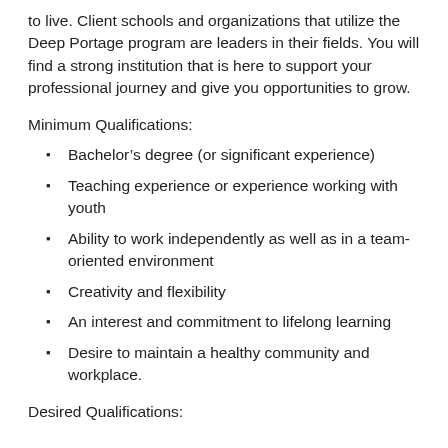to live. Client schools and organizations that utilize the Deep Portage program are leaders in their fields. You will find a strong institution that is here to support your professional journey and give you opportunities to grow.
Minimum Qualifications:
Bachelor’s degree (or significant experience)
Teaching experience or experience working with youth
Ability to work independently as well as in a team-oriented environment
Creativity and flexibility
An interest and commitment to lifelong learning
Desire to maintain a healthy community and workplace.
Desired Qualifications: